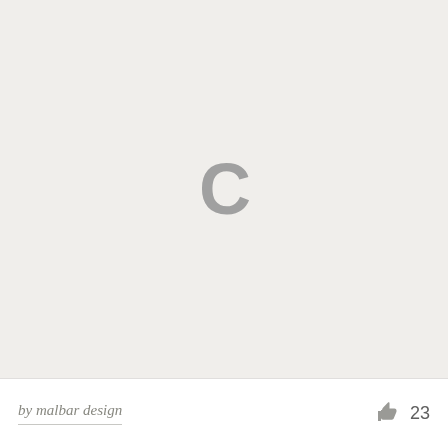[Figure (illustration): Loading placeholder with a large grey letter C centered on a light grey background]
by malbar design
23